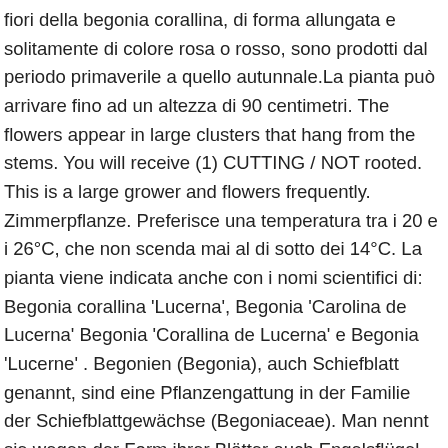fiori della begonia corallina, di forma allungata e solitamente di colore rosa o rosso, sono prodotti dal periodo primaverile a quello autunnale.La pianta può arrivare fino ad un altezza di 90 centimetri. The flowers appear in large clusters that hang from the stems. You will receive (1) CUTTING / NOT rooted. This is a large grower and flowers frequently. Zimmerpflanze. Preferisce una temperatura tra i 20 e i 26°C, che non scenda mai al di sotto dei 14°C. La pianta viene indicata anche con i nomi scientifici di: Begonia corallina 'Lucerna', Begonia 'Carolina de Lucerna' Begonia 'Corallina de Lucerna' e Begonia 'Lucerne' . Begonien (Begonia), auch Schiefblatt genannt, sind eine Pflanzengattung in der Familie der Schiefblattgewächse (Begoniaceae). Man nennt sie wegen der Form ihrer Blätter auch Engelsflügel-Begonie. Hola a todos, hace mucho tiempo que no paso por aqui. Certain leaves have dark red underside. Originally acquired in 1978, many cuttings taken, plant rejuvenated that way, and shared. Origin: Brazil. EUR 8,40. Può svernare in una stanza fresca, ma sta bene anche in casa in una stanza non troppo riscaldata. Il loro